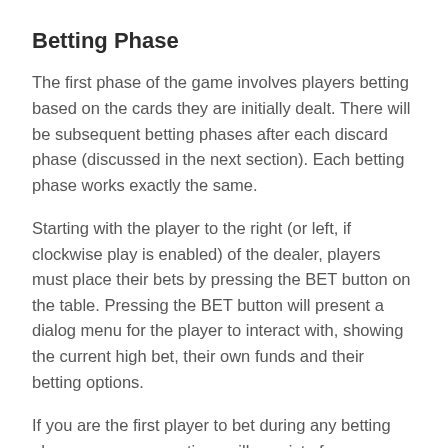Betting Phase
The first phase of the game involves players betting based on the cards they are initially dealt. There will be subsequent betting phases after each discard phase (discussed in the next section). Each betting phase works exactly the same.
Starting with the player to the right (or left, if clockwise play is enabled) of the dealer, players must place their bets by pressing the BET button on the table. Pressing the BET button will present a dialog menu for the player to interact with, showing the current high bet, their own funds and their betting options.
If you are the first player to bet during any betting phase, your menu options will consist of:
ALL IN – Bet every chip you have on the outcome of